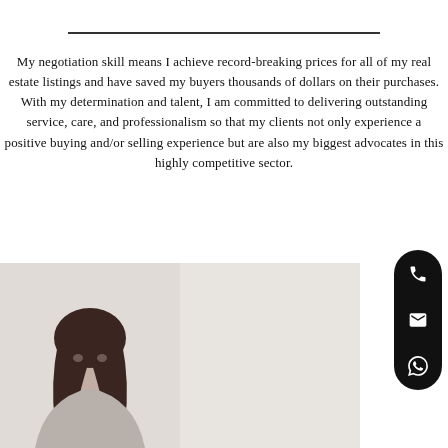My negotiation skill means I achieve record-breaking prices for all of my real estate listings and have saved my buyers thousands of dollars on their purchases. With my determination and talent, I am committed to delivering outstanding service, care, and professionalism so that my clients not only experience a positive buying and/or selling experience but are also my biggest advocates in this highly competitive sector.
[Figure (photo): Portrait photo of a woman with dark hair against a light background]